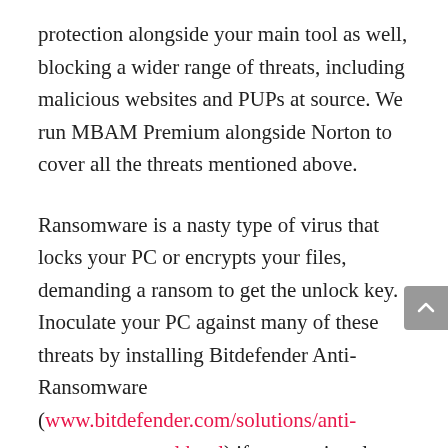protection alongside your main tool as well, blocking a wider range of threats, including malicious websites and PUPs at source. We run MBAM Premium alongside Norton to cover all the threats mentioned above.
Ransomware is a nasty type of virus that locks your PC or encrypts your files, demanding a ransom to get the unlock key. Inoculate your PC against many of these threats by installing Bitdefender Anti-Ransomware (www.bitdefender.com/solutions/anti-ransomware-tool.html) if your anti-malware software doesn't explicitly offer protection.